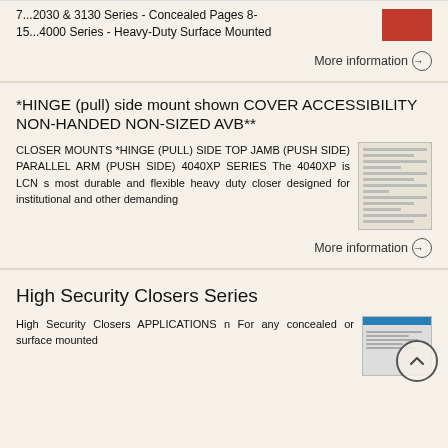7...2030 & 3130 Series - Concealed Pages 8-15...4000 Series - Heavy-Duty Surface Mounted
More information →
*HINGE (pull) side mount shown COVER ACCESSIBILITY NON-HANDED NON-SIZED AVB**
CLOSER MOUNTS *HINGE (PULL) SIDE TOP JAMB (PUSH SIDE) PARALLEL ARM (PUSH SIDE) 4040XP SERIES The 4040XP is LCN s most durable and flexible heavy duty closer designed for institutional and other demanding
More information →
High Security Closers Series
High Security Closers APPLICATIONS n For any concealed or surface mounted